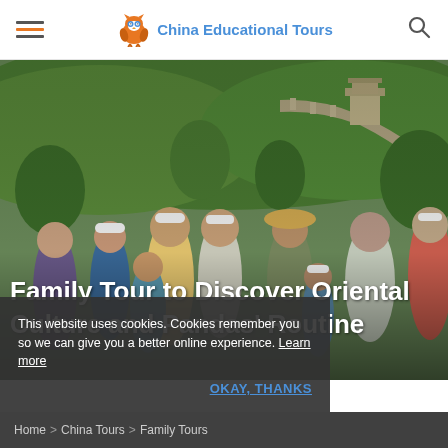China Educational Tours
[Figure (photo): A group of smiling family members wearing white caps standing in front of the Great Wall of China, surrounded by lush green forested hills.]
Family Tour to Discover Oriental Culture and Pandas' Routine
This website uses cookies. Cookies remember you so we can give you a better online experience. Learn more
OKAY, THANKS
Home > China Tours > Family Tours